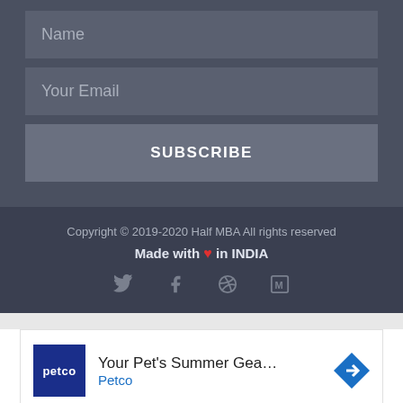Name
Your Email
SUBSCRIBE
Copyright © 2019-2020 Half MBA All rights reserved
Made with ❤ in INDIA
[Figure (other): Social media icons: Twitter, Facebook, Pinterest, Medium]
[Figure (other): Petco advertisement banner: Your Pet's Summer Gear Is Here - Petco with arrow icon and play/close controls]